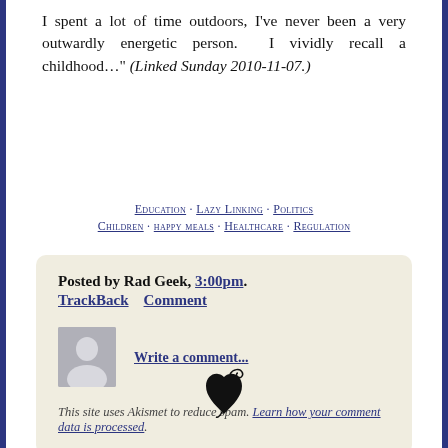I spent a lot of time outdoors, I've never been a very outwardly energetic person. I vividly recall a childhood…" (Linked Sunday 2010-11-07.)
Education · Lazy Linking · Politics · Children · happy meals · Healthcare · Regulation
Posted by Rad Geek, 3:00pm. TrackBack     Comment
Write a comment...
This site uses Akismet to reduce spam. Learn how your comment data is processed.
[Figure (illustration): Decorative ampersand/floral symbol at page bottom]